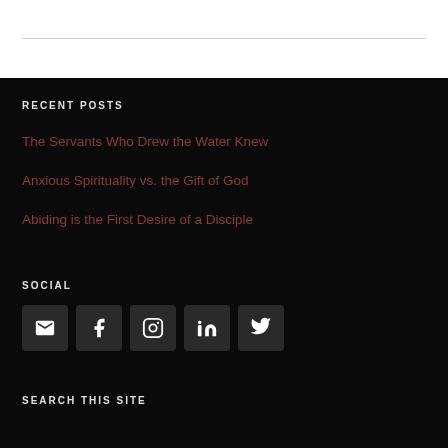RECENT POSTS
The Servants Who Drew the Water Knew
Anxious Spirituality vs. the Gift of God
Abiding is the First Desire of a Disciple
SOCIAL
[Figure (infographic): Row of 5 social media icon buttons: email, Facebook, Instagram, LinkedIn, Twitter]
SEARCH THIS SITE